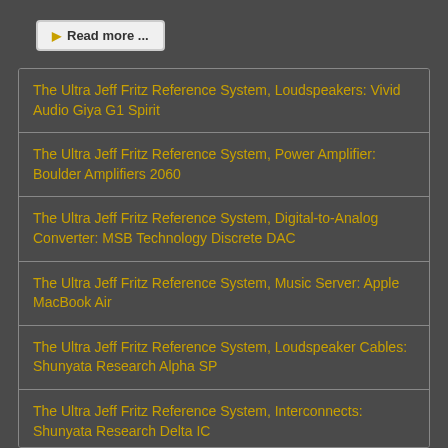Read more ...
The Ultra Jeff Fritz Reference System, Loudspeakers: Vivid Audio Giya G1 Spirit
The Ultra Jeff Fritz Reference System, Power Amplifier: Boulder Amplifiers 2060
The Ultra Jeff Fritz Reference System, Digital-to-Analog Converter: MSB Technology Discrete DAC
The Ultra Jeff Fritz Reference System, Music Server: Apple MacBook Air
The Ultra Jeff Fritz Reference System, Loudspeaker Cables: Shunyata Research Alpha SP
The Ultra Jeff Fritz Reference System, Interconnects: Shunyata Research Delta IC
The Ultra Jeff Frtiz Reference System, Power Conditioner: Shunyata Research Hydra Alpha A12